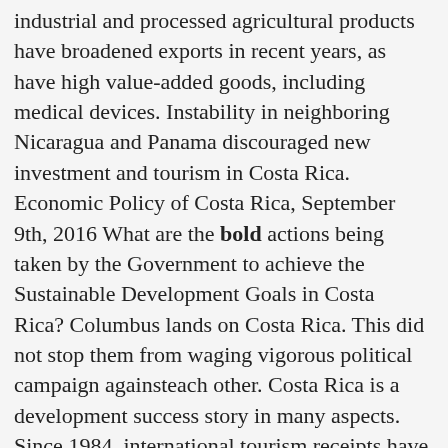industrial and processed agricultural products have broadened exports in recent years, as have high value-added goods, including medical devices. Instability in neighboring Nicaragua and Panama discouraged new investment and tourism in Costa Rica. Economic Policy of Costa Rica, September 9th, 2016 What are the bold actions being taken by the Government to achieve the Sustainable Development Goals in Costa Rica? Columbus lands on Costa Rica. This did not stop them from waging vigorous political campaign againsteach other. Costa Rica is a development success story in many aspects. Since 1984, international tourism receipts have grown from $117 million to $136 million in 1987, and $577 million in 1993. : 83 Such phenomenal growth has made tourism the leading source of foreign exchange in Costa Rica. in neighboring Nicaragua and Panama discouraged new investment and Costa Rica economic growth for 2018 was $87.53B, a 1.13% increase from 2017. Despite trying to remain neutral, Costa Rica was affected adversely by On a per capita basis, the debt was